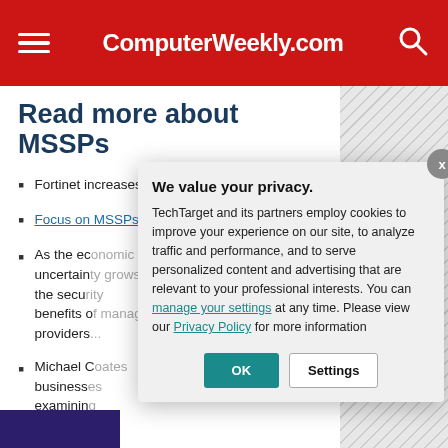ComputerWeekly.com
Read more about MSSPs
Fortinet increases MSSP support.
Focus on MSSPs at InfoSec.
As the ec... uncertainty... the security... benefits of... providers...
Michael C... businesses... examining... providers...
[Figure (screenshot): Cookie consent modal overlay with 'We value your privacy.' heading, privacy policy text, manage your settings link, Privacy Policy link, OK button and Settings button.]